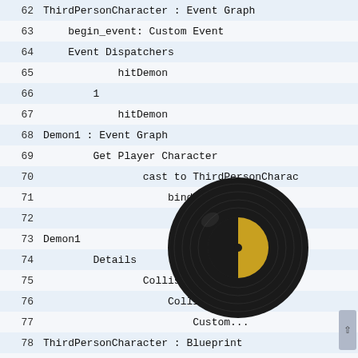| # | Code |
| --- | --- |
| 62 | ThirdPersonCharacter : Event Graph |
| 63 |     begin_event: Custom Event |
| 64 |     Event Dispatchers |
| 65 |             hitDemon |
| 66 |         1 |
| 67 |             hitDemon |
| 68 | Demon1 : Event Graph |
| 69 |         Get Player Character |
| 70 |                 cast to ThirdPersonCharac |
| 71 |                     bind event to hit |
| 72 |                         add custo |
| 73 | Demon1 |
| 74 |         Details |
| 75 |                 Collision |
| 76 |                     Collision Presets |
| 77 |                         Custom... |
| 78 | ThirdPersonCharacter : Blueprint |
| 79 |         Components |
| 80 |                 ThirdPersonCharacter |
| 81 |                     Use Controller Ro |
| 82 |                 CameraBoom |
| 83 |                     Use Pawn Control |
| 84 |                 CharacterM |
| 85 |                     C          ation t |
| 86 |         1 |
| 87 |                 Capsule Co |
| 88 |                     Get Word Location |
| 89 |                     Get Forward Vecto |